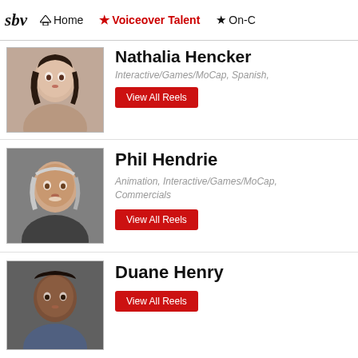sbv | Home | Voiceover Talent | On-C
Nathalia Hencker
Interactive/Games/MoCap, Spanish,
View All Reels
Phil Hendrie
Animation, Interactive/Games/MoCap, Commercials
View All Reels
Duane Henry
View All Reels